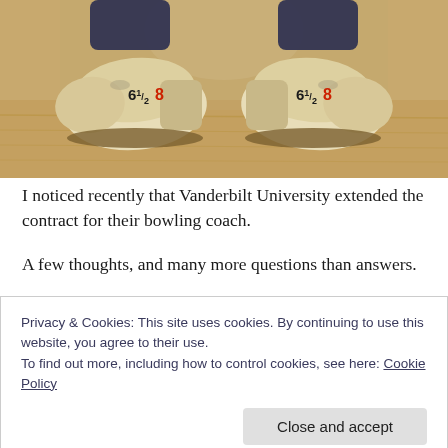[Figure (photo): Back view of two bowling shoes on a wooden bowling alley lane. Each shoe has '6½' and '8' printed on the heel in black and red respectively.]
I noticed recently that Vanderbilt University extended the contract for their bowling coach.
A few thoughts, and many more questions than answers.
Privacy & Cookies: This site uses cookies. By continuing to use this website, you agree to their use.
To find out more, including how to control cookies, see here: Cookie Policy
Close and accept